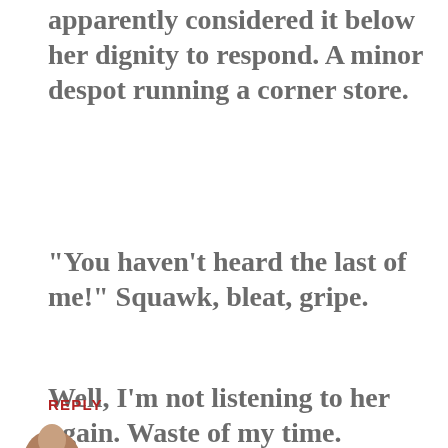apparently considered it below her dignity to respond. A minor despot running a corner store.
"You haven't heard the last of me!" Squawk, bleat, gripe.
Well, I'm not listening to her again. Waste of my time.
REPLY